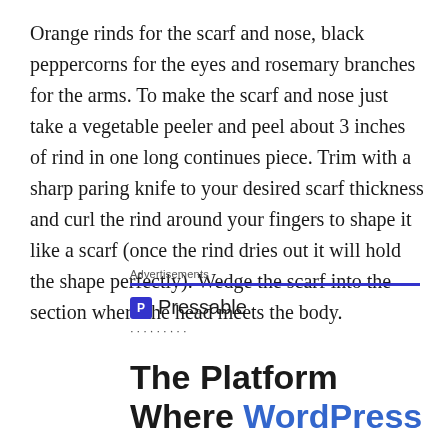Orange rinds for the scarf and nose, black peppercorns for the eyes and rosemary branches for the arms. To make the scarf and nose just take a vegetable peeler and peel about 3 inches of rind in one long continues piece. Trim with a sharp paring knife to your desired scarf thickness and curl the rind around your fingers to shape it like a scarf (once the rind dries out it will hold the shape perfectly). Wedge the scarf into the section where the head meets the body.
Advertisements
[Figure (logo): Pressable logo — blue square with letter P followed by text 'Pressable']
.........
The Platform Where WordPress